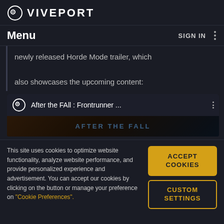VIVEPORT
Menu | SIGN IN
newly released Horde Mode trailer, which also showcases the upcoming content:
[Figure (screenshot): Video embed showing 'After the FAll : Frontrunner ...' with Viveport logo and After the Fall game thumbnail]
This site uses cookies to optimize website functionality, analyze website performance, and provide personalized experience and advertisement. You can accept our cookies by clicking on the button or manage your preference on "Cookie Preferences".
ACCEPT COOKIES
CUSTOM SETTINGS